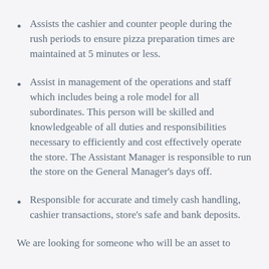Assists the cashier and counter people during the rush periods to ensure pizza preparation times are maintained at 5 minutes or less.
Assist in management of the operations and staff which includes being a role model for all subordinates. This person will be skilled and knowledgeable of all duties and responsibilities necessary to efficiently and cost effectively operate the store. The Assistant Manager is responsible to run the store on the General Manager’s days off.
Responsible for accurate and timely cash handling, cashier transactions, store’s safe and bank deposits.
We are looking for someone who will be an asset to